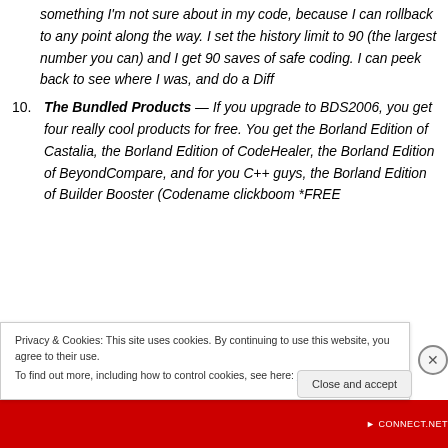something I'm not sure about in my code, because I can rollback to any point along the way. I set the history limit to 90 (the largest number you can) and I get 90 saves of safe coding. I can peek back to see where I was, and do a Diff
10. The Bundled Products — If you upgrade to BDS2006, you get four really cool products for free. You get the Borland Edition of Castalia, the Borland Edition of CodeHealer, the Borland Edition of BeyondCompare, and for you C++ guys, the Borland Edition of Builder Booster (Codename clickboom *FREE
Privacy & Cookies: This site uses cookies. By continuing to use this website, you agree to their use. To find out more, including how to control cookies, see here: Cookie Policy
Close and accept